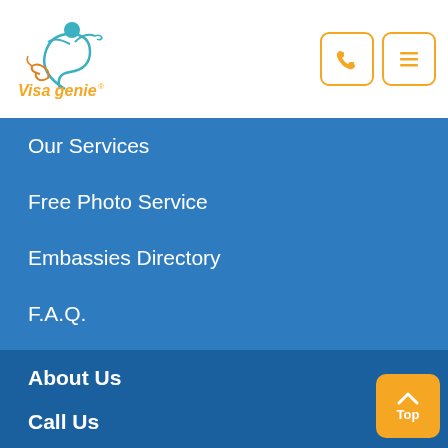[Figure (logo): Visa Genie logo - teal genie figure above an orange 'Visa genie' wordmark with registered trademark symbol]
[Figure (other): Phone icon button with orange border]
[Figure (other): Hamburger menu icon button with orange border]
Our Services
Free Photo Service
Embassies Directory
F.A.Q.
About Us
Who we are?
Privacy policy
Terms of Use
Sitemap
Call Us